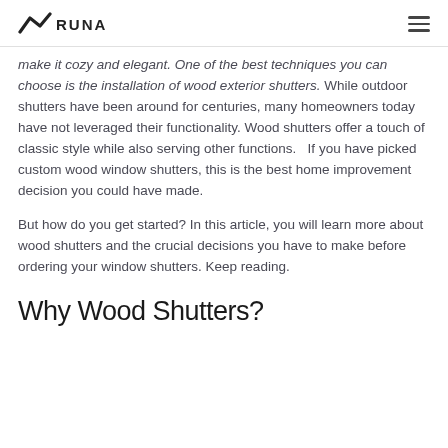RUNA
make it cozy and elegant. One of the best techniques you can choose is the installation of wood exterior shutters. While outdoor shutters have been around for centuries, many homeowners today have not leveraged their functionality. Wood shutters offer a touch of classic style while also serving other functions.   If you have picked custom wood window shutters, this is the best home improvement decision you could have made.
But how do you get started? In this article, you will learn more about wood shutters and the crucial decisions you have to make before ordering your window shutters. Keep reading.
Why Wood Shutters?